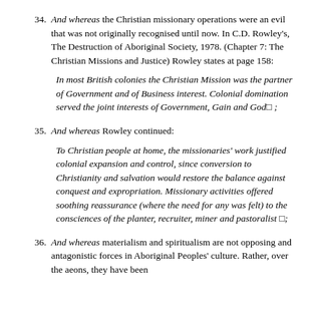34. And whereas the Christian missionary operations were an evil that was not originally recognised until now. In C.D. Rowley's, The Destruction of Aboriginal Society, 1978. (Chapter 7: The Christian Missions and Justice) Rowley states at page 158:
In most British colonies the Christian Mission was the partner of Government and of Business interest. Colonial domination served the joint interests of Government, Gain and God□ ;
35. And whereas Rowley continued:
To Christian people at home, the missionaries' work justified colonial expansion and control, since conversion to Christianity and salvation would restore the balance against conquest and expropriation. Missionary activities offered soothing reassurance (where the need for any was felt) to the consciences of the planter, recruiter, miner and pastoralist □;
36. And whereas materialism and spiritualism are not opposing and antagonistic forces in Aboriginal Peoples' culture. Rather, over the aeons, they have been